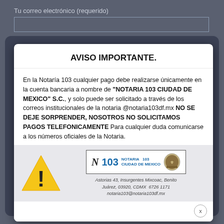Tu correo electrónico (requerido)
AVISO IMPORTANTE.
En la Notaría 103 cualquier pago debe realizarse únicamente en la cuenta bancaria a nombre de "NOTARIA 103 CIUDAD DE MEXICO" S.C., y solo puede ser solicitado a través de los correos institucionales de la notaria @notaria103df.mx NO SE DEJE SORPRENDER, NOSOTROS NO SOLICITAMOS PAGOS TELEFONICAMENTE Para cualquier duda comunicarse a los números oficiales de la Notaria.
[Figure (logo): Warning triangle icon and Notaria 103 Ciudad de Mexico logo with escudo]
Astorias 43, Insurgentes Mixcoac, Benito Juárez, 03920, CDMX 6726 1171 notaria103@notaria103df.mx